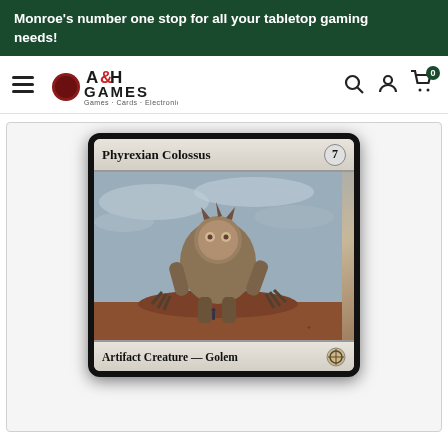Monroe's number one stop for all your tabletop gaming needs!
[Figure (logo): A&H Games logo — Games · Cards · Electronics]
[Figure (photo): Magic: The Gathering card — Phyrexian Colossus, Artifact Creature — Golem, mana cost 7, showing a large mechanical golem creature artwork]